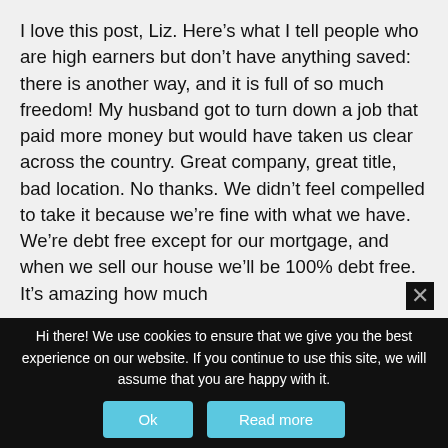I love this post, Liz. Here's what I tell people who are high earners but don't have anything saved: there is another way, and it is full of so much freedom! My husband got to turn down a job that paid more money but would have taken us clear across the country. Great company, great title, bad location. No thanks. We didn't feel compelled to take it because we're fine with what we have. We're debt free except for our mortgage, and when we sell our house we'll be 100% debt free. It's amazing how much
Hi there! We use cookies to ensure that we give you the best experience on our website. If you continue to use this site, we will assume that you are happy with it.